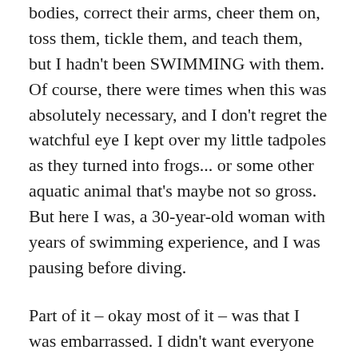bodies, correct their arms, cheer them on, toss them, tickle them, and teach them, but I hadn't been SWIMMING with them. Of course, there were times when this was absolutely necessary, and I don't regret the watchful eye I kept over my little tadpoles as they turned into frogs... or some other aquatic animal that's maybe not so gross. But here I was, a 30-year-old woman with years of swimming experience, and I was pausing before diving.
Part of it – okay most of it – was that I was embarrassed. I didn't want everyone else to see me go under, for fear that I'd thrash and flail like my kids when they were beginning to swim. I didn't want to head towards the bottom of the pool, only to come up empty...